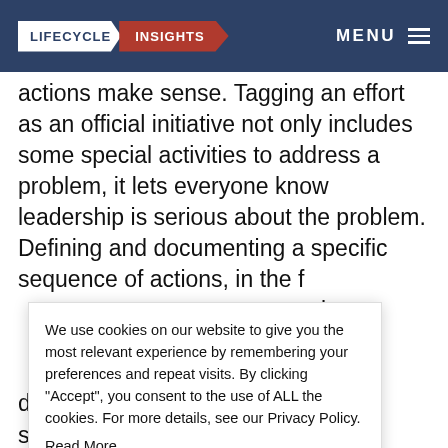LIFECYCLE INSIGHTS | MENU
actions make sense. Tagging an effort as an official initiative not only includes some special activities to address a problem, it lets everyone know leadership is serious about the problem. Defining and documenting a specific sequence of actions, in the f[orm of an initiative]...eans executives a[re aware]...t of the e[ffort]..., being handed d[ata in]...data in specific s[tructure]...equirement o[f]...ninate t[he]...ely created o[ver]...
We use cookies on our website to give you the most relevant experience by remembering your preferences and repeat visits. By clicking “Accept”, you consent to the use of ALL the cookies. For more details, see our Privacy Policy. Read More
Cookie settings ACCEPT